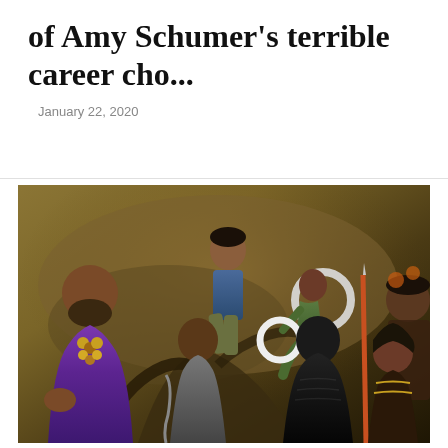of Amy Schumer's terrible career cho...
January 22, 2020
[Figure (photo): Promotional photo of the Black Panther movie cast in costume against a rocky, warm-toned background. Multiple cast members are posed, including figures in purple robes, grey armor, a green outfit, and the Black Panther black suit. A red square accent appears in the upper-left corner of the image.]